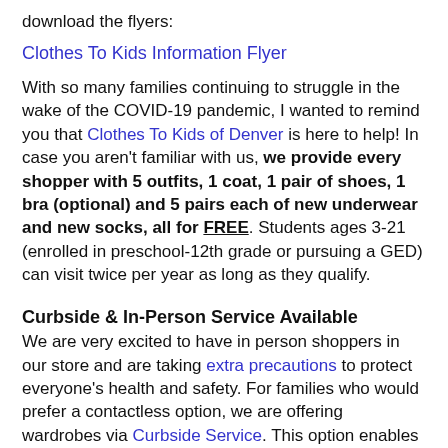download the flyers:
Clothes To Kids Information Flyer
With so many families continuing to struggle in the wake of the COVID-19 pandemic, I wanted to remind you that Clothes To Kids of Denver is here to help! In case you aren't familiar with us, we provide every shopper with 5 outfits, 1 coat, 1 pair of shoes, 1 bra (optional) and 5 pairs each of new underwear and new socks, all for FREE. Students ages 3-21 (enrolled in preschool-12th grade or pursuing a GED) can visit twice per year as long as they qualify.
Curbside & In-Person Service Available
We are very excited to have in person shoppers in our store and are taking extra precautions to protect everyone's health and safety. For families who would prefer a contactless option, we are offering wardrobes via Curbside Service. This option enables parents and caregivers to request a wardrobe for any student in